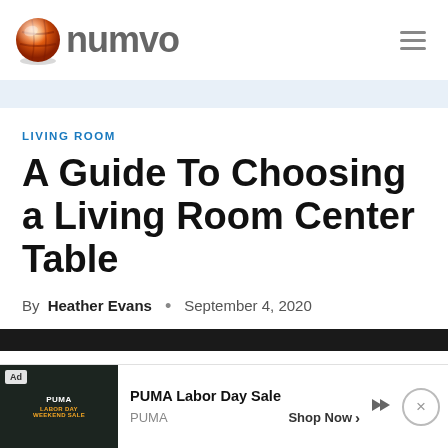numvo
LIVING ROOM
A Guide To Choosing a Living Room Center Table
By Heather Evans • September 4, 2020
[Figure (other): Advertisement banner: PUMA Labor Day Sale with image of PUMA products on left, text 'PUMA Labor Day Sale' and 'Shop Now' button on right]